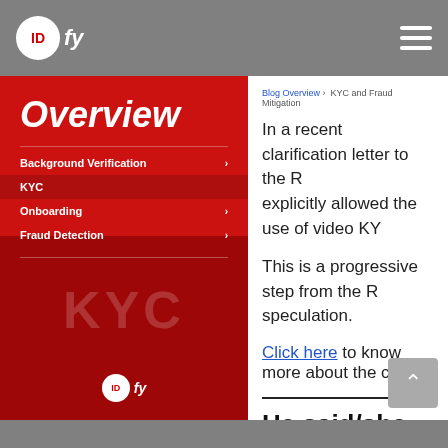IDfy
Overview
Background Verification
KYC
Onboarding
Fraud Detection
KYC
Blog Overview > KYC and Fraud Mitigation
In a recent clarification letter to the R... explicitly allowed the use of video KY...
This is a progressive step from the R... speculation.
Click here to know more about the cl...
He said/she said